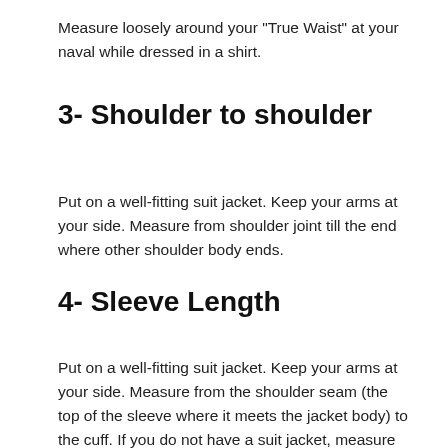Measure loosely around your "True Waist" at your naval while dressed in a shirt.
3- Shoulder to shoulder
Put on a well-fitting suit jacket. Keep your arms at your side. Measure from shoulder joint till the end where other shoulder body ends.
4- Sleeve Length
Put on a well-fitting suit jacket. Keep your arms at your side. Measure from the shoulder seam (the top of the sleeve where it meets the jacket body) to the cuff. If you do not have a suit jacket, measure from the edge of the shoulder, down your arm to where you'd like the sleeve to end. Typically, jacket sleeves end 1.5" to 2" above the base knuckle of the thumb, breaking at the wrist or slightly lower. Roughly 1/4" to 1/2" of shirt sleeve should show